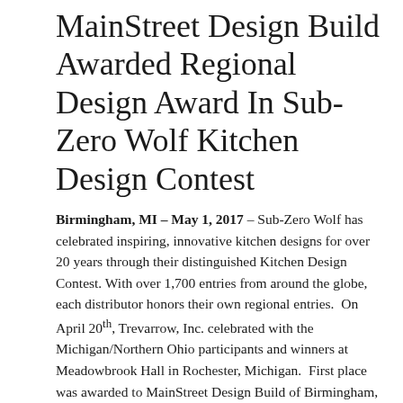MainStreet Design Build Awarded Regional Design Award In Sub-Zero Wolf Kitchen Design Contest
Birmingham, MI – May 1, 2017 – Sub-Zero Wolf has celebrated inspiring, innovative kitchen designs for over 20 years through their distinguished Kitchen Design Contest. With over 1,700 entries from around the globe, each distributor honors their own regional entries.  On April 20th, Trevarrow, Inc. celebrated with the Michigan/Northern Ohio participants and winners at Meadowbrook Hall in Rochester, Michigan.  First place was awarded to MainStreet Design Build of Birmingham, MI for their Urban-Style Kitchen Remodeling project.  Receiving the award at the event was Christine Ramaekers, CKD, MainStreet Vice President, and Kim McDevitt, MainStreet General Manager.